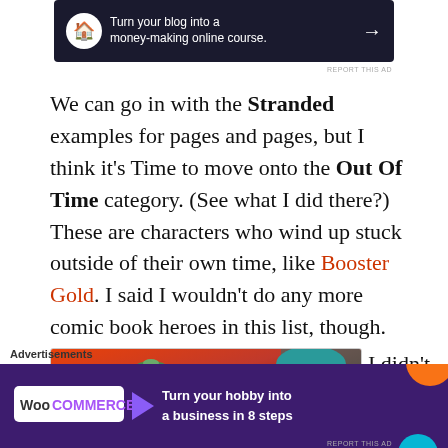[Figure (screenshot): Dark advertisement banner: 'Turn your blog into a money-making online course.' with a circular icon and arrow on dark navy background]
We can go in with the Stranded examples for pages and pages, but I think it’s Time to move onto the Out Of Time category.  (See what I did there?)  These are characters who wind up stuck outside of their own time, like Booster Gold.  I said I wouldn’t do any more comic book heroes in this list, though.
[Figure (illustration): Colorful comic book style illustration showing UFOs with laser beams against an orange/red sky background, with a comic character visible on the right]
I didn’t say anything
Advertisements
[Figure (screenshot): WooCommerce advertisement: 'Turn your hobby into a business in 8 steps' on purple background with WooCommerce logo]